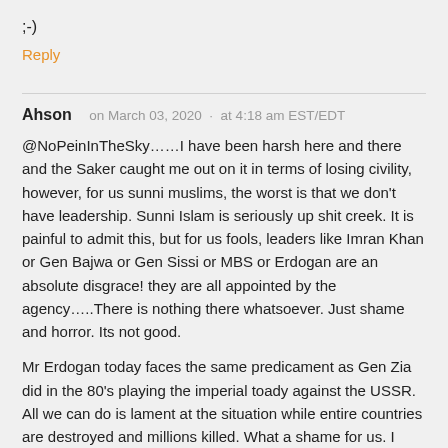;-)
Reply
Ahson   on March 03, 2020  ·  at 4:18 am EST/EDT
@NoPeinInTheSky……I have been harsh here and there and the Saker caught me out on it in terms of losing civility, however, for us sunni muslims, the worst is that we don't have leadership. Sunni Islam is seriously up shit creek. It is painful to admit this, but for us fools, leaders like Imran Khan or Gen Bajwa or Gen Sissi or MBS or Erdogan are an absolute disgrace! they are all appointed by the agency…..There is nothing there whatsoever. Just shame and horror. Its not good.
Mr Erdogan today faces the same predicament as Gen Zia did in the 80's playing the imperial toady against the USSR. All we can do is lament at the situation while entire countries are destroyed and millions killed. What a shame for us. I don't know how else to say it, but the truth stares us in the face. The future seriously does not bode well for the Sunni muslim world. It's well and truly a leadership crises. Lets hope Russia/ China/ Iran have mercy on